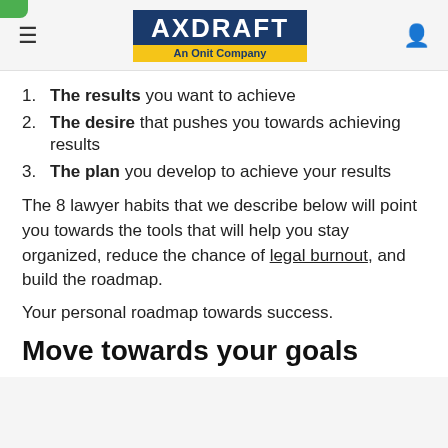AXDRAFT — An Onit Company
The results you want to achieve
The desire that pushes you towards achieving results
The plan you develop to achieve your results
The 8 lawyer habits that we describe below will point you towards the tools that will help you stay organized, reduce the chance of legal burnout, and build the roadmap.
Your personal roadmap towards success.
Move towards your goals